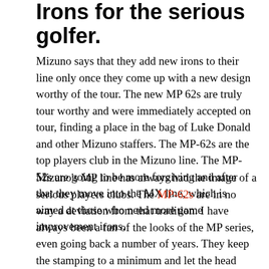Irons for the serious golfer.
Mizuno says that they add new irons to their line only once they come up with a new design worthy of the tour.  The new MP 62s are truly tour worthy and were immediately accepted on tour, finding a place in the bag of Luke Donald and other Mizuno staffers.  The MP-62s are the top players club in the Mizuno line.  The MP-52s are going to be more forgiving and after that they move into the MX line, which is aimed at those who need more game improvement irons.
Mizuno's MP line has always had the image of a serious players clubs.  The MP-62s are in no way a deviation from that tradition.  I have always been a fan of the looks of the MP series, even going back a number of years.  They keep the stamping to a minimum and let the head display its beauty without clutter.  My MP-62 set consisted of the standard 3...